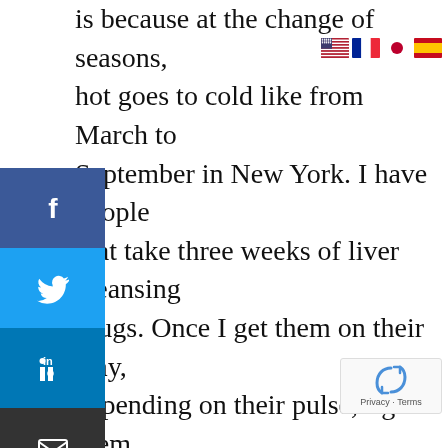is because at the change of seasons, hot goes to cold like from March to September in New York. I have people that take three weeks of liver cleansing drugs. Once I get them on their way, depending on their pulse, I give them either a liquid or a pill depending on their lifestyle and what other issues they must take for three weeks. Some people say, “I don’t want to take a pill. I just want to do foods.” Then, I tell them to eat the brassica vegetables
[Figure (infographic): Social media share sidebar with Facebook, Twitter, LinkedIn, Email, and Print buttons]